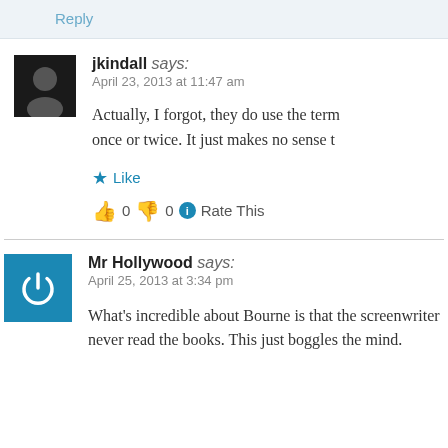Reply
jkindall says: April 23, 2013 at 11:47 am
Actually, I forgot, they do use the term once or twice. It just makes no sense t
Like
👍 0 👎 0 ℹ Rate This
Mr Hollywood says: April 25, 2013 at 3:34 pm
What's incredible about Bourne is that the screenwriter never read the books. This just boggles the mind.